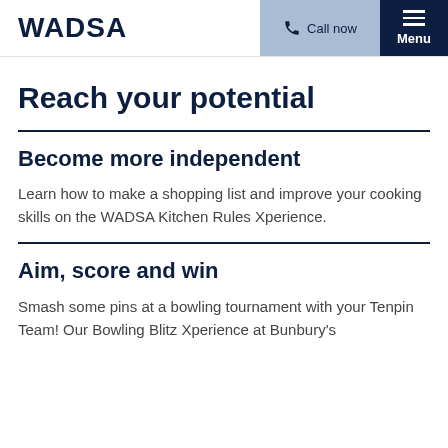WADSA | Call now | Menu
Reach your potential
Become more independent
Learn how to make a shopping list and improve your cooking skills on the WADSA Kitchen Rules Xperience.
Aim, score and win
Smash some pins at a bowling tournament with your Tenpin Team! Our Bowling Blitz Xperience at Bunbury's